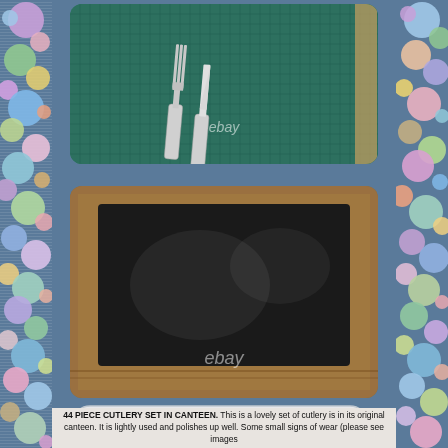[Figure (photo): Photo of silver fork and knife on a green cutting mat with eBay watermark]
[Figure (photo): Photo of a closed dark leather/fabric cutlery canteen box in a wooden frame with eBay watermark]
[Figure (other): More info on eBay... button/banner]
44 PIECE CUTLERY SET IN CANTEEN. This is a lovely set of cutlery is in its original canteen. It is lightly used and polishes up well. Some small signs of wear (please see images